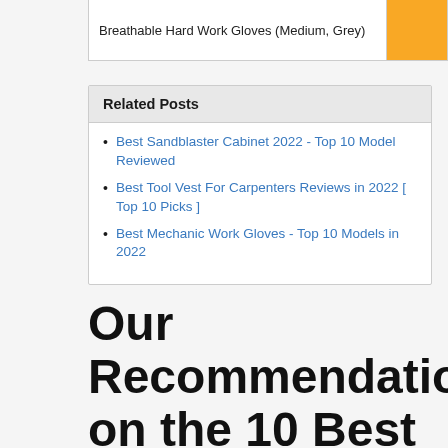| Breathable Hard Work Gloves (Medium, Grey) |  |  |
Related Posts
Best Sandblaster Cabinet 2022 - Top 10 Model Reviewed
Best Tool Vest For Carpenters Reviews in 2022 [ Top 10 Picks ]
Best Mechanic Work Gloves - Top 10 Models in 2022
Our Recommendation on the 10 Best Gloves For Metal